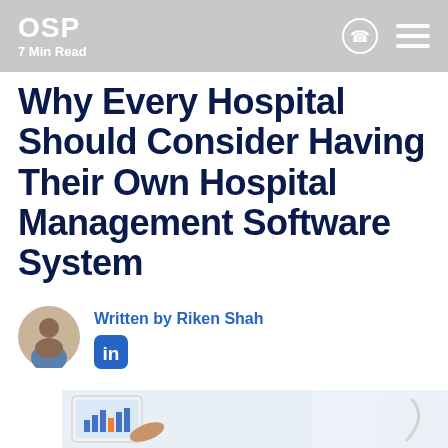OSP
7 Min Read
Why Every Hospital Should Consider Having Their Own Hospital Management Software System
Written by Riken Shah
[Figure (photo): A doctor in a white coat with a stethoscope pointing at a tablet showing a hospital management software dashboard with charts and graphs.]